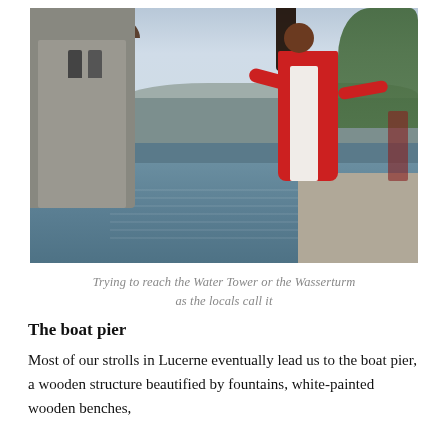[Figure (photo): A woman in a red and white outfit posing with outstretched arms near the Water Tower (Wasserturm) in Lucerne, Switzerland. The medieval stone tower is on the left, a lake and bridge are visible in the background, and green trees line the right side promenade.]
Trying to reach the Water Tower or the Wasserturm as the locals call it
The boat pier
Most of our strolls in Lucerne eventually lead us to the boat pier, a wooden structure beautified by fountains, white-painted wooden benches,